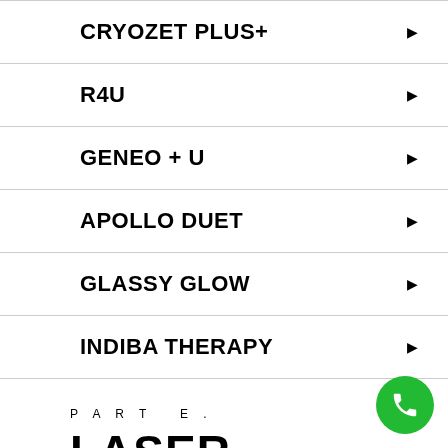CRYOZET PLUS+
R4U
GENEO + U
APOLLO DUET
GLASSY GLOW
INDIBA THERAPY
PART E.
LASER TREATMENT